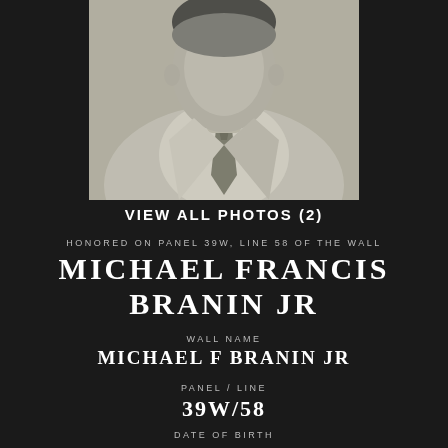[Figure (photo): Black and white portrait photo of a young man in a suit and tie, cropped to show head and shoulders, against a dark background.]
VIEW ALL PHOTOS (2)
HONORED ON PANEL 39W, LINE 58 OF THE WALL
MICHAEL FRANCIS BRANIN JR
WALL NAME
MICHAEL F BRANIN JR
PANEL / LINE
39W/58
DATE OF BIRTH
01/28/1948